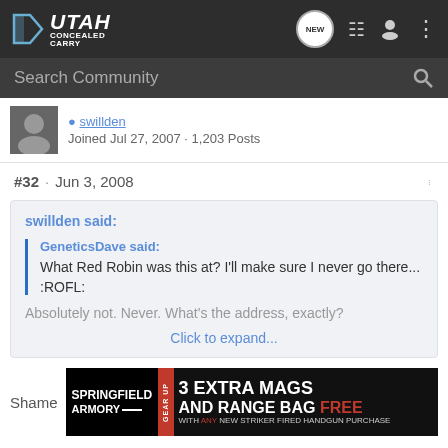Utah Concealed Carry
Search Community
Joined Jul 27, 2007 · 1,203 Posts
#32 · Jun 3, 2008
swillden said: GeneticsDave said: What Red Robin was this at? I'll make sure I never go there... :ROFL: Absolutely not. Never. What's the address, exactly?
Click to expand...
Shame
[Figure (photo): Springfield Armory advertisement: 3 Extra Mags and Range Bag Free with any new striker fired handgun purchase]